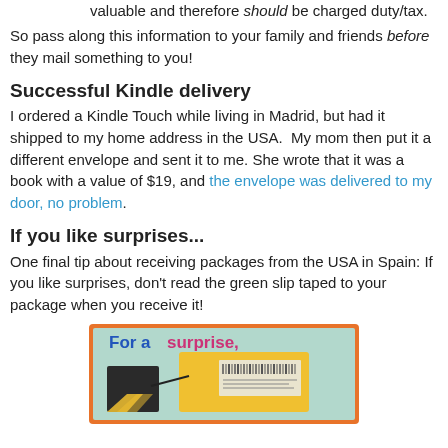valuable and therefore should be charged duty/tax.
So pass along this information to your family and friends before they mail something to you!
Successful Kindle delivery
I ordered a Kindle Touch while living in Madrid, but had it shipped to my home address in the USA.  My mom then put it a different envelope and sent it to me. She wrote that it was a book with a value of $19, and the envelope was delivered to my door, no problem.
If you like surprises...
One final tip about receiving packages from the USA in Spain: If you like surprises, don't read the green slip taped to your package when you receive it!
[Figure (illustration): Image showing a package with text 'For a surprise,' in bold blue and pink letters, with a yellow envelope/package and a label visible, on a teal/mint background with an orange border.]